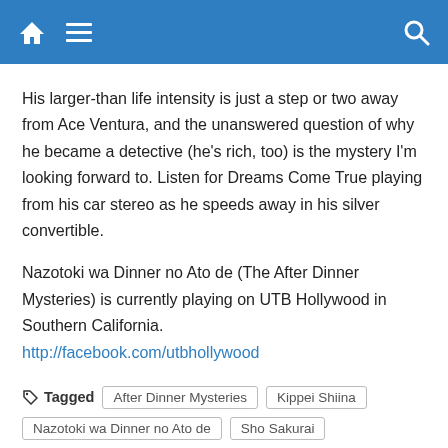Navigation bar with home, menu, and search icons
His larger-than life intensity is just a step or two away from Ace Ventura, and the unanswered question of why he became a detective (he's rich, too) is the mystery I'm looking forward to. Listen for Dreams Come True playing from his car stereo as he speeds away in his silver convertible.
Nazotoki wa Dinner no Ato de (The After Dinner Mysteries) is currently playing on UTB Hollywood in Southern California. http://facebook.com/utbhollywood
Tagged   After Dinner Mysteries   Kippei Shiina   Nazotoki wa Dinner no Ato de   Sho Sakurai
RELATED POSTS